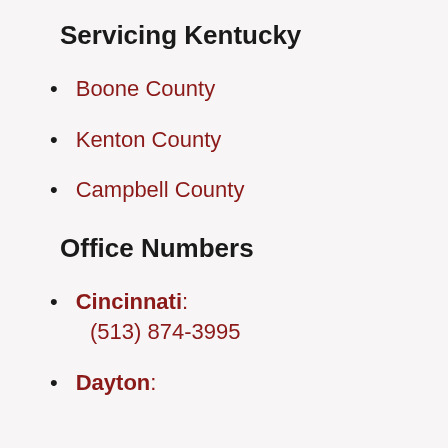Servicing Kentucky
Boone County
Kenton County
Campbell County
Office Numbers
Cincinnati: (513) 874-3995
Dayton: